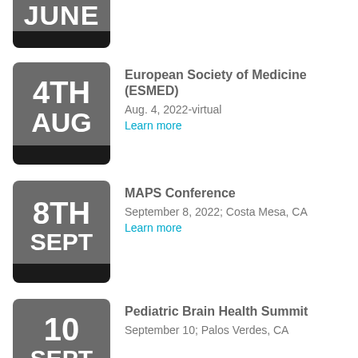[Figure (other): Calendar icon showing JUNE, partially cropped at top]
[Figure (other): Calendar icon showing 4TH AUG]
European Society of Medicine (ESMED)
Aug. 4, 2022-virtual
Learn more
[Figure (other): Calendar icon showing 8TH SEPT]
MAPS Conference
September 8, 2022; Costa Mesa, CA
Learn more
[Figure (other): Calendar icon showing 10 SEPT]
Pediatric Brain Health Summit
September 10; Palos Verdes, CA